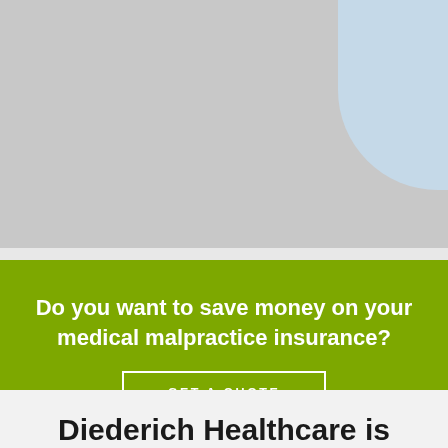[Figure (photo): Gray background image area with a light blue curved shape in the top-right corner]
Do you want to save money on your medical malpractice insurance?
GET A QUOTE
Diederich Healthcare is